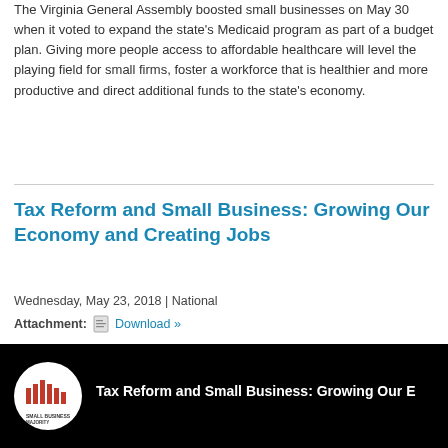The Virginia General Assembly boosted small businesses on May 30 when it voted to expand the state's Medicaid program as part of a budget plan. Giving more people access to affordable healthcare will level the playing field for small firms, foster a workforce that is healthier and more productive and direct additional funds to the state's economy.
Tax Reform and Small Business: Growing Our Economy and Creating Jobs
Wednesday, May 23, 2018 | National
Attachment:  Download »
[Figure (screenshot): YouTube video thumbnail showing Small Business Majority logo in white circle on black background with video title 'Tax Reform and Small Business: Growing Our Economy and Creating Jobs' in white text]